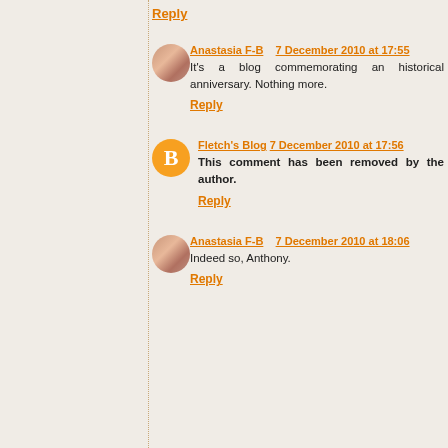Reply
Anastasia F-B   7 December 2010 at 17:55
It's a blog commemorating an historical anniversary. Nothing more.
Reply
Fletch's Blog   7 December 2010 at 17:56
This comment has been removed by the author.
Reply
Anastasia F-B   7 December 2010 at 18:06
Indeed so, Anthony.
Reply